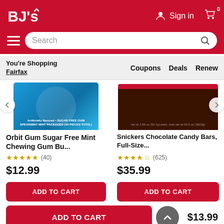[Figure (screenshot): BJ's Wholesale Club website header with logo, Sign in, cart icon, hamburger menu, and search bar on red background]
You're Shopping Fairfax
Coupons   Deals   Renew
Orbit Gum Sugar Free Mint Chewing Gum Bu...
★★★★★ (40)
$12.99
ADD TO CART
Snickers Chocolate Candy Bars, Full-Size...
★★★★★ (625)
$35.99
ADD TO CART
ADD TO CART
$13.99